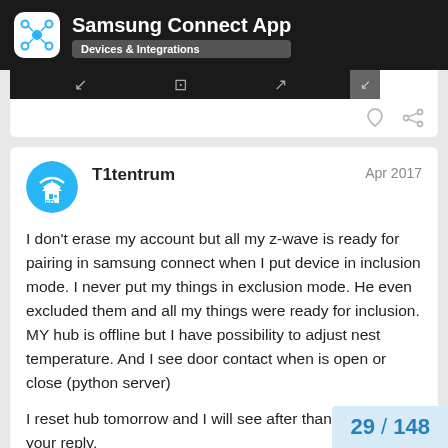Samsung Connect App — Devices & Integrations
[Figure (screenshot): Partial screenshot of a dark image strip with navigation arrows]
T1tentrum  Apr 2017

I don't erase my account but all my z-wave is ready for pairing in samsung connect when I put device in inclusion mode. I never put my things in exclusion mode. He even excluded them and all my things were ready for inclusion. MY hub is offline but I have possibility to adjust nest temperature. And I see door contact when is open or close (python server)

I reset hub tomorrow and I will see after thank you for your reply.
29 / 148